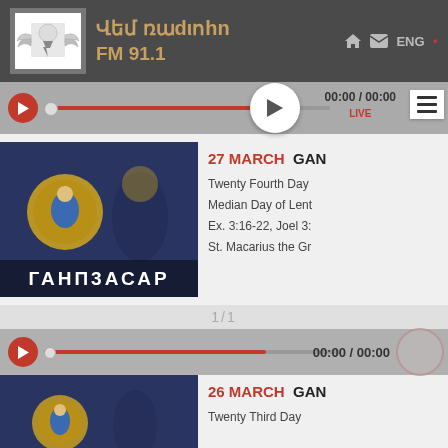[Figure (screenshot): Radio station website screenshot for Վեմ ռադիո FM 91.1 showing player bars, Armenian manuscript thumbnail images with ԳԱՆՁاCAR text overlay, program listings for 27 March and 26 March, and navigation controls]
Վեմ ռադիո FM 91.1
27 MARCH  GANDZACAR
Twenty Fourth Day
Median Day of Lent
Ex. 3:16-22, Joel 3:
St. Macarius the Gr
00:00 / 00:00  LIVE
26 MARCH  GANDZACAR
Twenty Third Day